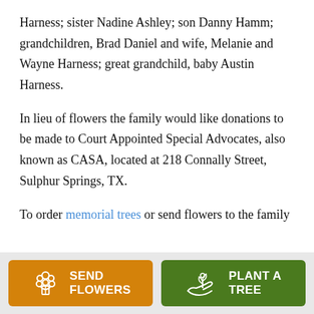Harness; sister Nadine Ashley; son Danny Hamm; grandchildren, Brad Daniel and wife, Melanie and Wayne Harness; great grandchild, baby Austin Harness.
In lieu of flowers the family would like donations to be made to Court Appointed Special Advocates, also known as CASA, located at 218 Connally Street, Sulphur Springs, TX.
To order memorial trees or send flowers to the family
[Figure (infographic): Two call-to-action buttons at the bottom: an orange 'SEND FLOWERS' button with a bouquet icon, and a green 'PLANT A TREE' button with a plant/hand icon.]